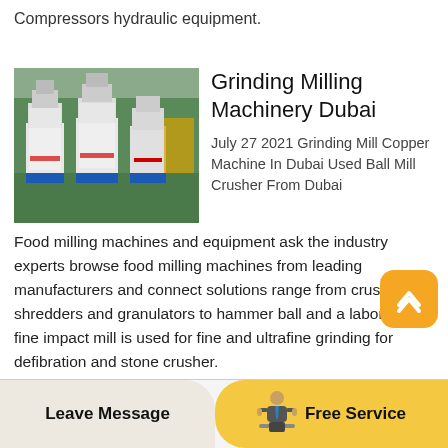Compressors hydraulic equipment.
Grinding Milling Machinery Dubai
[Figure (photo): Industrial grinding milling machines in a factory setting, wrapped in packaging, blue bases, on green floor]
July 27 2021 Grinding Mill Copper Machine In Dubai Used Ball Mill Crusher From Dubai
Food milling machines and equipment ask the industry experts browse food milling machines from leading manufacturers and connect solutions range from crushers shredders and granulators to hammer ball and a laboratory fine impact mill is used for fine and ultrafine grinding for defibration and stone crusher.
Leave Message
[Figure (illustration): Customer service agent icon illustration]
Free Service